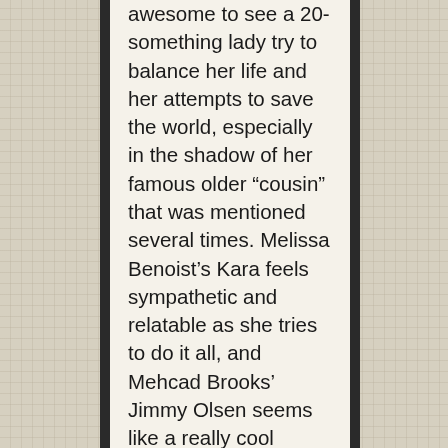awesome to see a 20-something lady try to balance her life and her attempts to save the world, especially in the shadow of her famous older “cousin” that was mentioned several times. Melissa Benoist’s Kara feels sympathetic and relatable as she tries to do it all, and Mehcad Brooks’ Jimmy Olsen seems like a really cool mentor-type character. I don’t have a lot of love for Rick, the best friend-type character but if he ends up filling a more “Cisco” role of engineering Kara’s